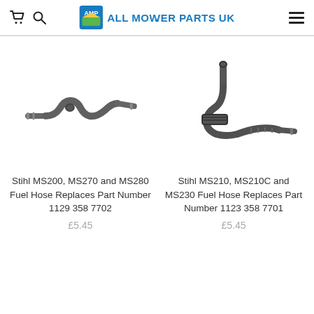ALL MOWER PARTS UK
[Figure (photo): Stihl MS200/MS270/MS280 fuel hose replacement part - S-shaped rubber fuel hose with connectors on each end]
Stihl MS200, MS270 and MS280 Fuel Hose Replaces Part Number 1129 358 7702
£5.45
[Figure (photo): Stihl MS210/MS210C/MS230 fuel hose replacement part - S-shaped rubber fuel hose with a mounting flange and connectors]
Stihl MS210, MS210C and MS230 Fuel Hose Replaces Part Number 1123 358 7701
£5.45